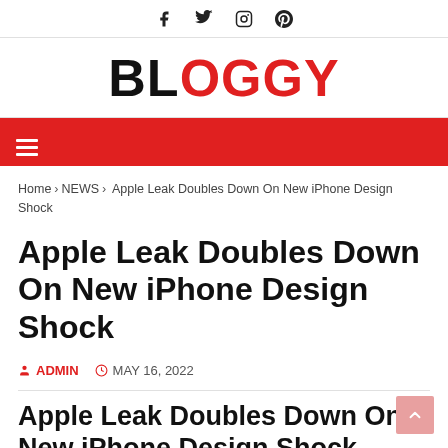Social icons: Facebook, Twitter, Instagram, Pinterest
BLOGGY
Navigation menu (hamburger icon)
Home > NEWS > Apple Leak Doubles Down On New iPhone Design Shock
Apple Leak Doubles Down On New iPhone Design Shock
ADMIN  MAY 16, 2022
Apple Leak Doubles Down On New iPhone Design Shock